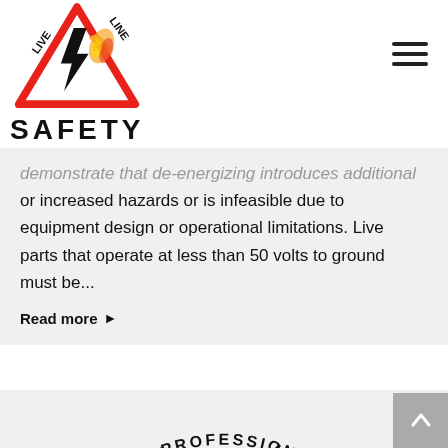[Figure (logo): Live Line Safety logo: red triangle warning sign with lightning bolt and sparks, text 'LIVE LINE' around the top of the triangle, and 'SAFETY' in bold below.]
demonstrate that de-energizing introduces additional or increased hazards or is infeasible due to equipment design or operational limitations. Live parts that operate at less than 50 volts to ground must be...
Read more ▶
[Figure (logo): Partial circular logo with text 'AVE IT TO THE PROFESSIONAL' visible around the arc, with a yellow lightning bolt and spark graphic in the center.]